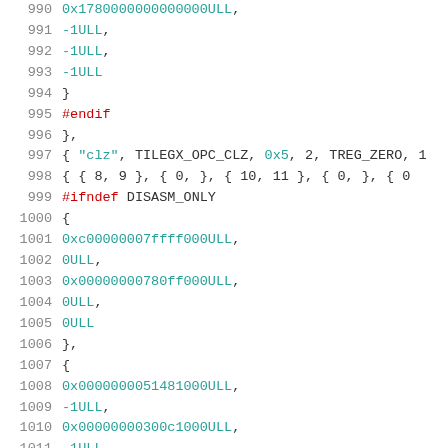Source code listing, lines 990-1011, C preprocessor/assembly data with hex values and ULL constants